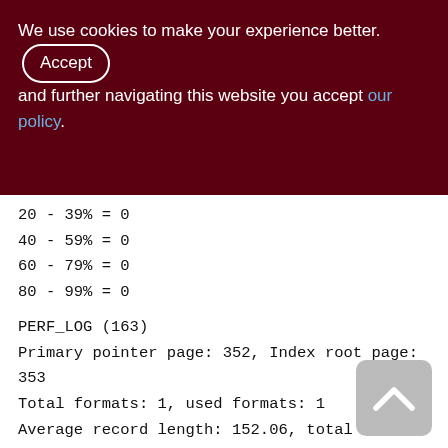We use cookies to make your experience better. By accepting and further navigating this website you accept our policy.
20 - 39% = 0
40 - 59% = 0
60 - 79% = 0
80 - 99% = 0
PERF_LOG (163)
Primary pointer page: 352, Index root page: 353
Total formats: 1, used formats: 1
Average record length: 152.06, total records: 13870995
Average version length: 0.00, total versions: 0, max versions: 0